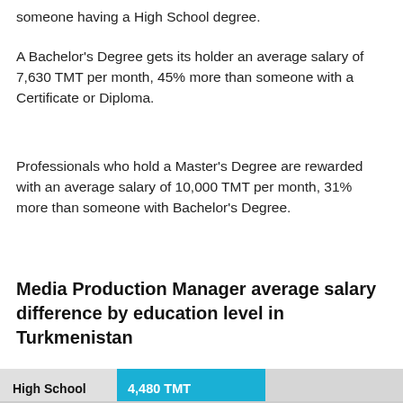someone having a High School degree.
A Bachelor's Degree gets its holder an average salary of 7,630 TMT per month, 45% more than someone with a Certificate or Diploma.
Professionals who hold a Master's Degree are rewarded with an average salary of 10,000 TMT per month, 31% more than someone with Bachelor's Degree.
Media Production Manager average salary difference by education level in Turkmenistan
[Figure (bar-chart): Media Production Manager average salary difference by education level in Turkmenistan]